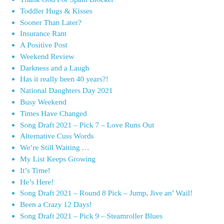Thank God For Spam Blocker
Toddler Hugs & Kisses
Sooner Than Later?
Insurance Rant
A Positive Post
Weekend Review
Darkness and a Laugh
Has it really been 40 years?!
National Daughters Day 2021
Busy Weekend
Times Have Changed
Song Draft 2021 – Pick 7 – Love Runs Out
Alternative Cuss Words
We're Still Waiting …
My List Keeps Growing
It's Time!
He's Here!
Song Draft 2021 – Round 8 Pick – Jump, Jive an' Wail!
Been a Crazy 12 Days!
Song Draft 2021 – Pick 9 – Steamroller Blues
Back to the Grind …
Running On Empty
Let's Talk About Sax …
Song Draft 2021 – Round 10 – Final Pick –